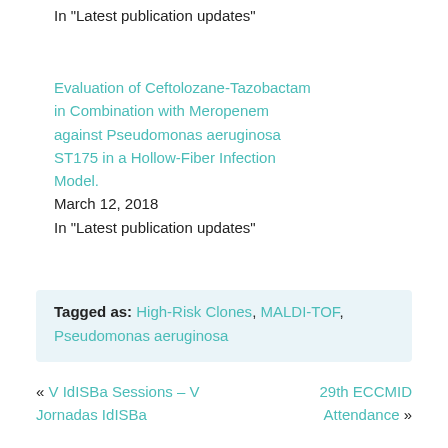In "Latest publication updates"
Evaluation of Ceftolozane-Tazobactam in Combination with Meropenem against Pseudomonas aeruginosa ST175 in a Hollow-Fiber Infection Model.
March 12, 2018
In "Latest publication updates"
Tagged as: High-Risk Clones, MALDI-TOF, Pseudomonas aeruginosa
« V IdISBa Sessions – V Jornadas IdISBa
29th ECCMID Attendance »